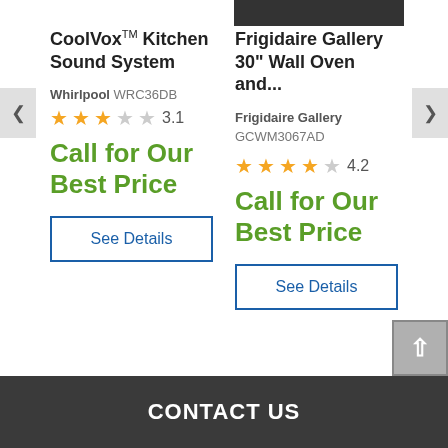[Figure (screenshot): Partial product image for Frigidaire Gallery Wall Oven visible at top right]
CoolVox™ Kitchen Sound System
Whirlpool WRC36DB
★★★☆☆ 3.1
Call for Our Best Price
See Details
Frigidaire Gallery 30" Wall Oven and...
Frigidaire Gallery GCWM3067AD
★★★★☆ 4.2
Call for Our Best Price
See Details
CONTACT US